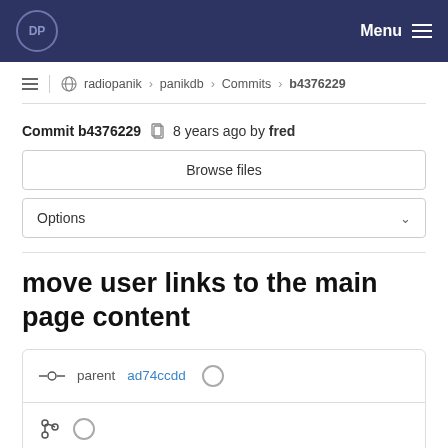DP  Menu
radiopanik > panikdb > Commits > b4376229
Commit b4376229  8 years ago by fred
Browse files
Options
move user links to the main page content
parent ad74ccdd